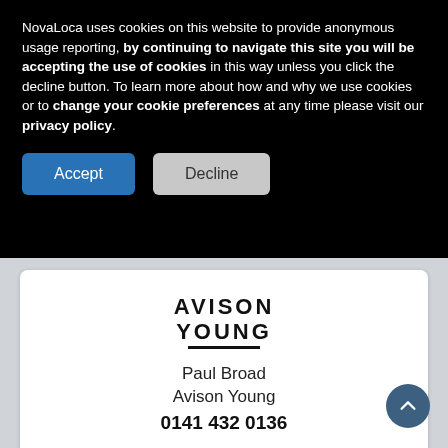NovaLoca uses cookies on this website to provide anonymous usage reporting, by continuing to navigate this site you will be accepting the use of cookies in this way unless you click the decline button. To learn more about how and why we use cookies or to change your cookie preferences at any time please visit our privacy policy.
[Figure (other): Accept and Decline cookie consent buttons]
[Figure (logo): Avison Young logo with bold text and underline]
Paul Broad
Avison Young
0141 432 0136
[Figure (logo): Griffin company logo on blue background, partially visible]